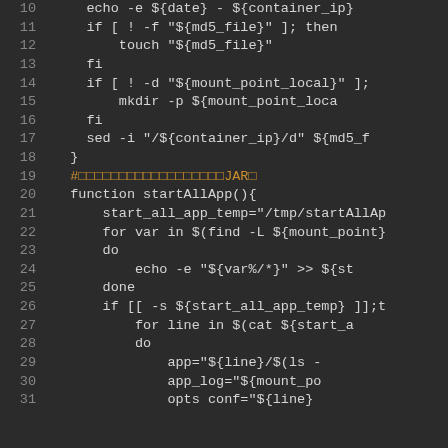[Figure (screenshot): Shell script code snippet with dark background showing lines 10-31. Lines include bash commands: echo, if/fi blocks, mkdir, sed, function definition startAllApp(), variable assignments, for loops, do/done blocks. Line 19 has an orange/yellow comment line starting with #.]